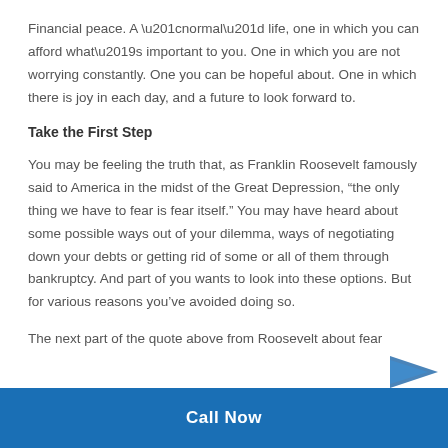Financial peace. A “normal” life, one in which you can afford what’s important to you. One in which you are not worrying constantly. One you can be hopeful about. One in which there is joy in each day, and a future to look forward to.
Take the First Step
You may be feeling the truth that, as Franklin Roosevelt famously said to America in the midst of the Great Depression, “the only thing we have to fear is fear itself.” You may have heard about some possible ways out of your dilemma, ways of negotiating down your debts or getting rid of some or all of them through bankruptcy. And part of you wants to look into these options. But for various reasons you’ve avoided doing so.
The next part of the quote above from Roosevelt about fear
Call Now